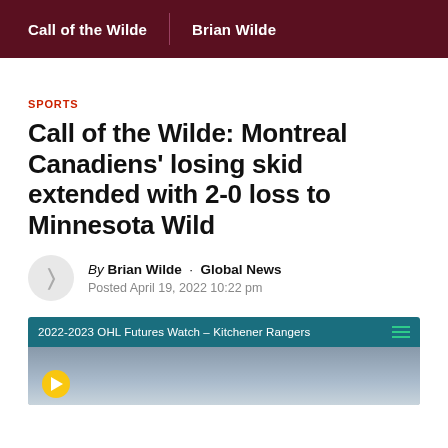Call of the Wilde | Brian Wilde
SPORTS
Call of the Wilde: Montreal Canadiens’ losing skid extended with 2-0 loss to Minnesota Wild
By Brian Wilde · Global News
Posted April 19, 2022 10:22 pm
[Figure (screenshot): Video thumbnail with teal bar reading '2022-2023 OHL Futures Watch – Kitchener Rangers' and a hockey player image below]